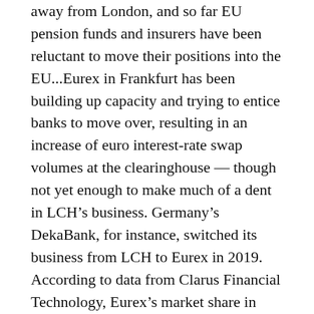away from London, and so far EU pension funds and insurers have been reluctant to move their positions into the EU...Eurex in Frankfurt has been building up capacity and trying to entice banks to move over, resulting in an increase of euro interest-rate swap volumes at the clearinghouse — though not yet enough to make much of a dent in LCH's business. Germany's DekaBank, for instance, switched its business from LCH to Eurex in 2019. According to data from Clarus Financial Technology, Eurex's market share in euro clearing by trading volume hasn't shifted much over the last year, standing at 3.7 percent across interest-rate swaps, overnight indexed swaps and basis swaps".